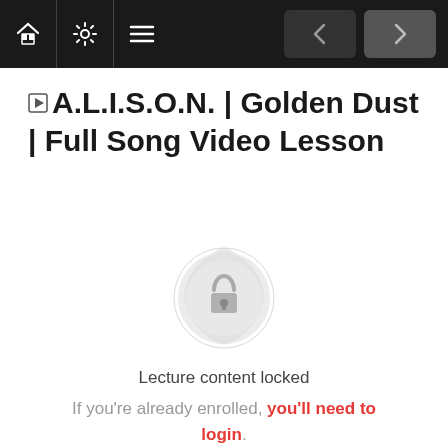Navigation bar with home, settings, menu icons and back/forward navigation buttons
A.L.I.S.O.N. | Golden Dust | Full Song Video Lesson
[Figure (illustration): Decorative circular badge/seal icon in light grey with a padlock icon in the center, indicating locked content]
Lecture content locked
If you're already enrolled, you'll need to login.